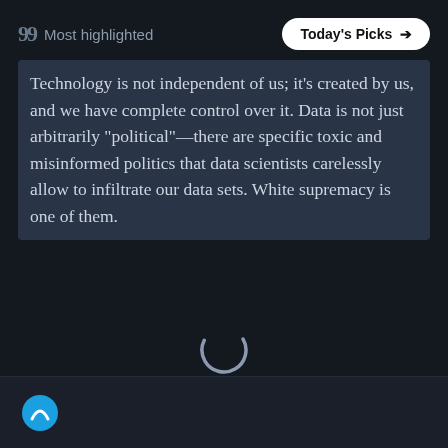Most highlighted
Technology is not independent of us; it’s created by us, and we have complete control over it. Data is not just arbitrarily “political”—there are specific toxic and misinformed politics that data scientists carelessly allow to infiltrate our data sets. White supremacy is one of them.
[Figure (other): Loading spinner (circular arc indicator) centered in a dark background area]
[Figure (logo): Blue circular logo icon at bottom left of the page footer bar]